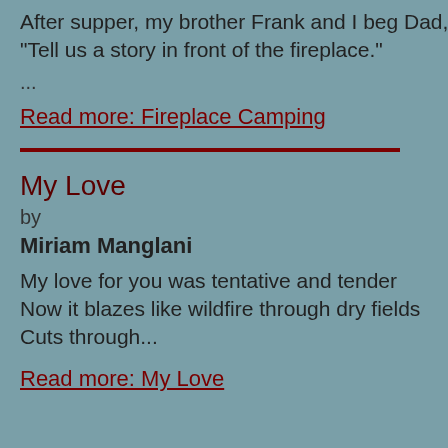After supper, my brother Frank and I beg Dad, "Tell us a story in front of the fireplace."
...
Read more: Fireplace Camping
More Details...
My Love
by
Miriam Manglani
My love for you was tentative and tender
Now it blazes like wildfire through dry fields
Cuts through...
Read more: My Love